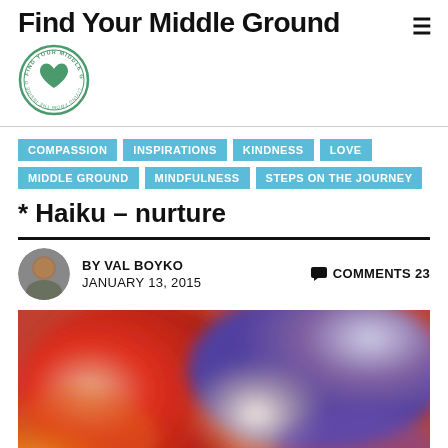Find Your Middle Ground
[Figure (logo): Find Your Middle Ground circular logo with green heart and text around the border]
COMPASSION
INSPIRATIONS
KINDNESS
LOVE
MIDDLE GROUND
MINDFULNESS
STEPS ON THE JOURNEY
* Haiku – nurture
BY VAL BOYKO
JANUARY 13, 2015
COMMENTS 23
[Figure (photo): Blurred abstract colorful image with red, orange, purple and white tones, appears to be a close-up of flowers or fabric]